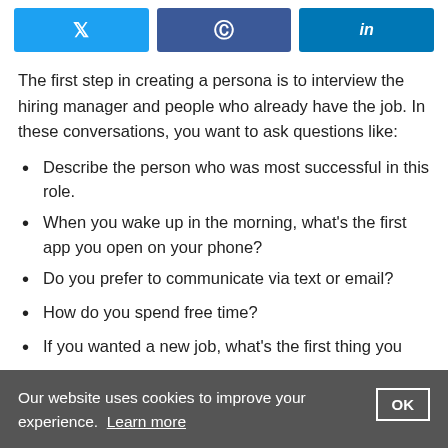[Figure (other): Social share buttons for Twitter, Facebook, and LinkedIn]
The first step in creating a persona is to interview the hiring manager and people who already have the job. In these conversations, you want to ask questions like:
Describe the person who was most successful in this role.
When you wake up in the morning, what's the first app you open on your phone?
Do you prefer to communicate via text or email?
How do you spend free time?
If you wanted a new job, what's the first thing you
Our website uses cookies to improve your experience. Learn more  OK